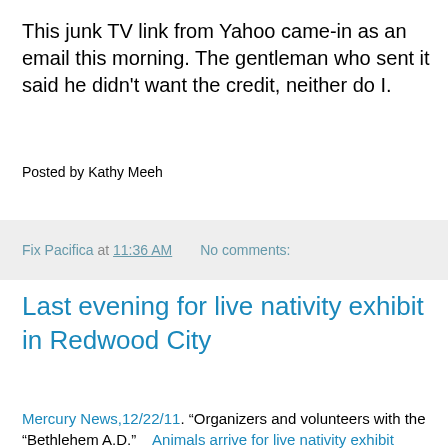This junk TV link from Yahoo came-in as an email this morning. The gentleman who sent it said he didn't want the credit, neither do I.
Posted by Kathy Meeh
Fix Pacifica at 11:36 AM   No comments:
Last evening for live nativity exhibit in Redwood City
Mercury News,12/22/11. "Organizers and volunteers with the "Bethlehem A.D."   Animals arrive for live nativity exhibit